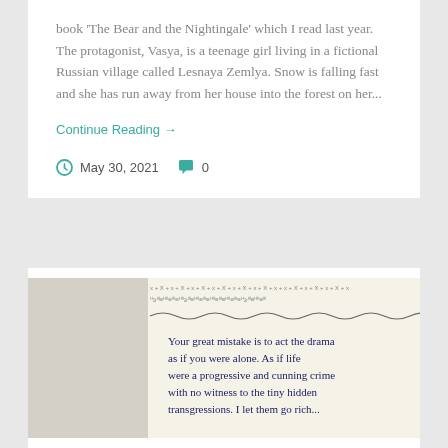book 'The Bear and the Nightingale' which I read last year. The protagonist, Vasya, is a teenage girl living in a fictional Russian village called Lesnaya Zemlya. Snow is falling fast and she has run away from her house into the forest on her...
Continue Reading →
May 30, 2021   0
Letter Writing
[Figure (photo): A photograph showing a page from a handwritten letter or book on decorative lined paper. The handwriting reads: 'Your great mistake is to act the drama as if you were alone. As if life were a progressive and cunning crime with no witness to the tiny hidden transgressions...' The left portion shows a plain grey/beige paper background.]